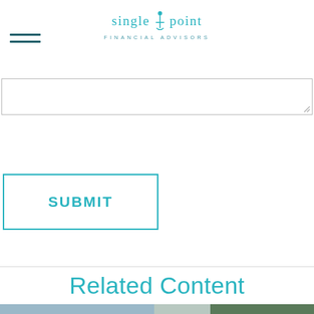single point FINANCIAL ADVISORS
SUBMIT
Related Content
[Figure (photo): Person holding a tablet outdoors near a garden/water feature, viewed from above]